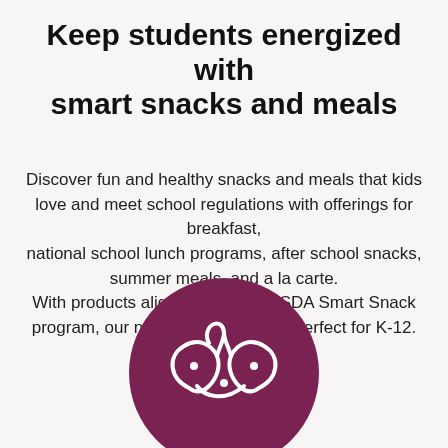Keep students energized with smart snacks and meals
Discover fun and healthy snacks and meals that kids love and meet school regulations with offerings for breakfast, national school lunch programs, after school snacks, summer meals, and a la carte. With products aligning with the USDA Smart Snack program, our nutritious snacks are perfect for K-12.
[Figure (illustration): A dark magenta/maroon circle with a white illustrated snack food icon (pretzel or pastry shape) in the center, partially visible at the bottom of the page.]